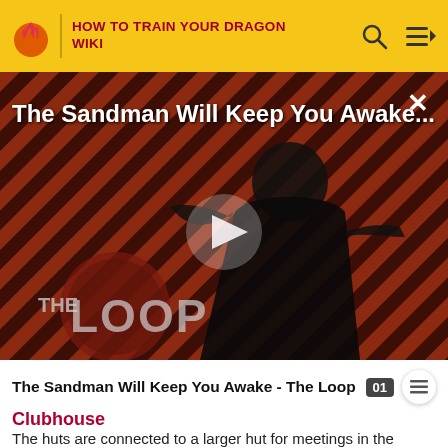HOW TO TRAIN YOUR DRAGON WIKI
[Figure (screenshot): Video thumbnail for 'The Sandman Will Keep You Awake - The Loop' showing a dark-robed figure against a diagonal striped red and black background, with THE LOOP logo in the lower left. A play button is overlaid in the center. An X close button is in the top right.]
The Sandman Will Keep You Awake - The Loop
Clubhouse
The huts are connected to a larger hut for meetings in the